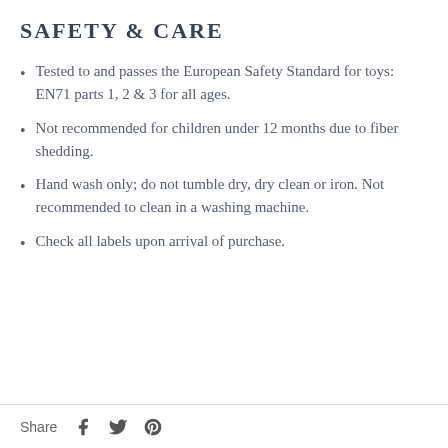SAFETY & CARE
Tested to and passes the European Safety Standard for toys: EN71 parts 1, 2 & 3 for all ages.
Not recommended for children under 12 months due to fiber shedding.
Hand wash only; do not tumble dry, dry clean or iron. Not recommended to clean in a washing machine.
Check all labels upon arrival of purchase.
Share